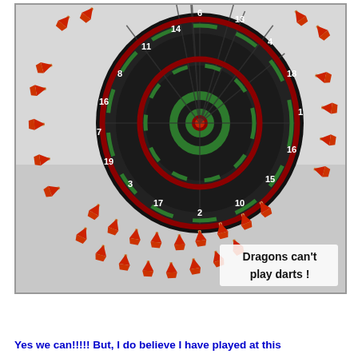[Figure (photo): A dartboard mounted on a white wall with dozens of red darts stuck all around the board but NOT on it — all the darts have missed the dartboard completely and are stuck in the wall surrounding it. A text overlay in the bottom right reads: "Dragons can't play darts!"]
Yes we can!!!!! But, I do believe I have played at this